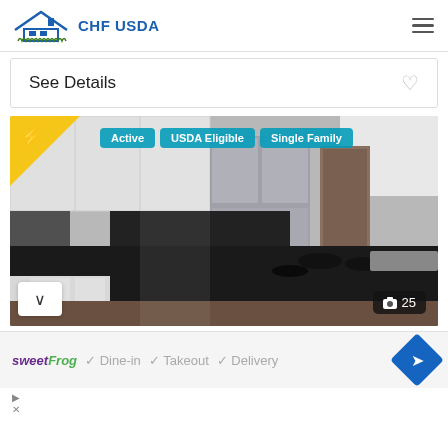[Figure (logo): CHF USDA logo with house icon and blue text]
See Details
[Figure (photo): Kitchen interior photo showing white cabinets, stainless steel refrigerator, black granite island countertop with stovetop, modern kitchen. Badges: Active, USDA Eligible, Single Family. Photo count: 25.]
✓ Dine-in  ✓ Takeout  ✓ Delivery